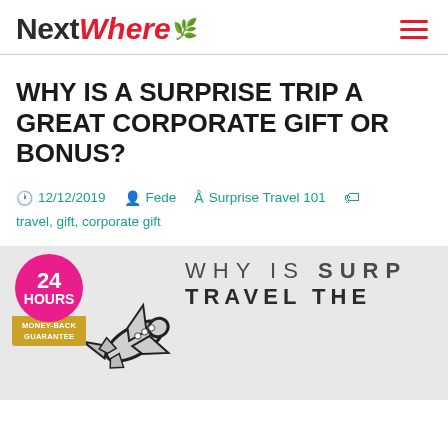[Figure (logo): NextWhere logo with hamburger menu icon]
WHY IS A SURPRISE TRIP A GREAT CORPORATE GIFT OR BONUS?
12/12/2019   Fede   Surprise Travel 101   travel, gift, corporate gift
[Figure (infographic): Infographic with airplane, 24 HOURS money-back guarantee badge, and text WHY IS SURPRISE TRAVEL THE...]